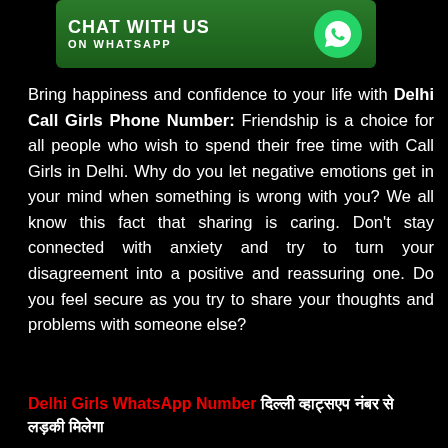[Figure (illustration): Green WhatsApp banner with text 'CHAT WITH US ON WHATSAPP' and WhatsApp logo icon on the right]
Bring happiness and confidence to your life with Delhi Call Girls Phone Number: Friendship is a choice for all people who wish to spend their free time with Call Girls in Delhi. Why do you let negative emotions get in your mind when something is wrong with you? We all know this fact that sharing is caring. Don't stay connected with anxiety and try to turn your disagreement into a positive and reassuring one. Do you feel secure as you try to share your thoughts and problems with someone else?
Delhi Girls WhatsApp Number दिल्ली व्हाट्सएप नंबर से लड़की मिलेगा